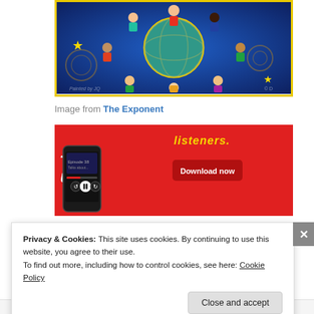[Figure (illustration): Colorful illustration showing diverse children arranged in a circle around a globe on a deep blue starry background, with yellow stars and swirl patterns. Yellow border frame.]
Image from The Exponent
[Figure (photo): Red background advertisement/podcast image showing a smartphone displaying a podcast app with text '-trib-uted' in large white letters on left, and 'listeners.' in yellow/white at top right, with a 'Download now' button in dark red.]
Privacy & Cookies: This site uses cookies. By continuing to use this website, you agree to their use.
To find out more, including how to control cookies, see here: Cookie Policy
Close and accept